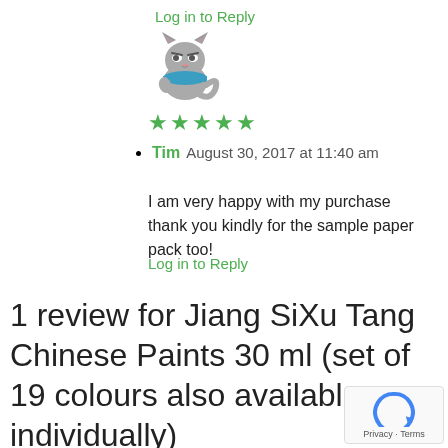Log in to Reply
[Figure (illustration): Gray cartoon cat avatar wearing a blue scarf]
★★★★★ (5 green stars rating)
Tim August 30, 2017 at 11:40 am
I am very happy with my purchase thank you kindly for the sample paper pack too!
Log in to Reply
1 review for Jiang SiXu Tang Chinese Paints 30 ml (set of 19 colours also available individually)
[Figure (logo): Google reCAPTCHA badge with Privacy and Terms links]